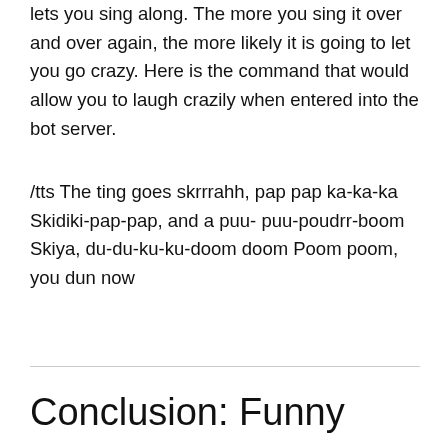lets you sing along. The more you sing it over and over again, the more likely it is going to let you go crazy. Here is the command that would allow you to laugh crazily when entered into the bot server.
/tts The ting goes skrrrahh, pap pap ka-ka-ka Skidiki-pap-pap, and a puu- puu-poudrr-boom Skiya, du-du-ku-ku-doom doom Poom poom, you dun now
Conclusion: Funny